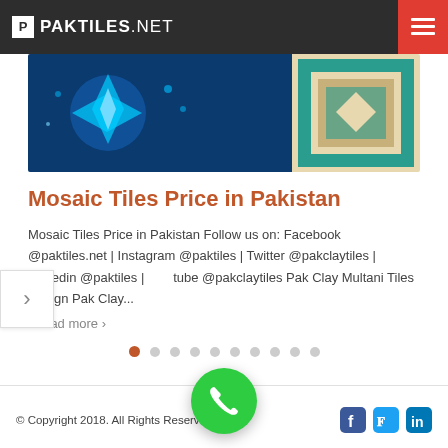PAKTILES.NET
[Figure (photo): Mosaic tile images — blue glowing star pattern on left and geometric teal/cream pattern on right]
Mosaic Tiles Price in Pakistan
Mosaic Tiles Price in Pakistan Follow us on: Facebook @paktiles.net | Instagram @paktiles | Twitter @pakclaytiles | Linkedin @paktiles | Youtube @pakclaytiles Pak Clay Multani Tiles Design Pak Clay...
...read more >
© Copyright 2018. All Rights Reserved.